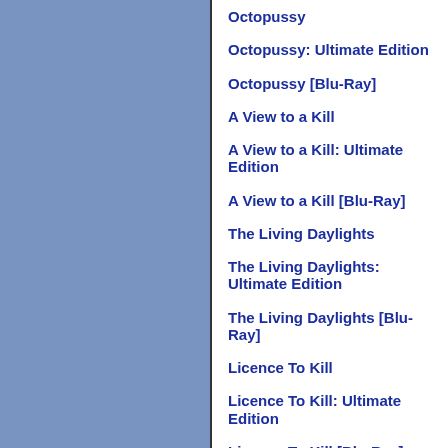Octopussy
Octopussy: Ultimate Edition
Octopussy [Blu-Ray]
A View to a Kill
A View to a Kill: Ultimate Edition
A View to a Kill [Blu-Ray]
The Living Daylights
The Living Daylights: Ultimate Edition
The Living Daylights [Blu-Ray]
Licence To Kill
Licence To Kill: Ultimate Edition
Licence To Kill [Blu-Ray]
GoldenEye
GoldenEye: Ultimate Edition
GoldenEye [Blu-Ray]
Tomorrow Never Dies
Tomorrow Never Dies: Ultimate Edition
Tomorrow Never Dies [Blu-Ray]